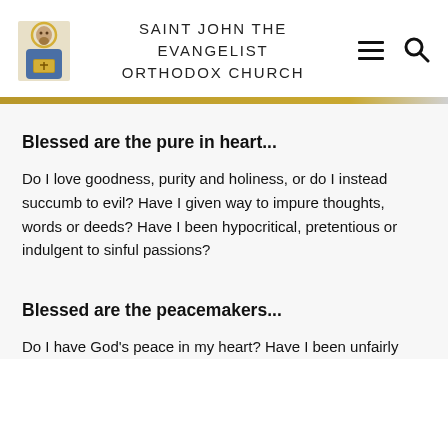SAINT JOHN THE EVANGELIST ORTHODOX CHURCH
Blessed are the pure in heart...
Do I love goodness, purity and holiness, or do I instead succumb to evil? Have I given way to impure thoughts, words or deeds? Have I been hypocritical, pretentious or indulgent to sinful passions?
Blessed are the peacemakers...
Do I have God's peace in my heart? Have I been unfairly...